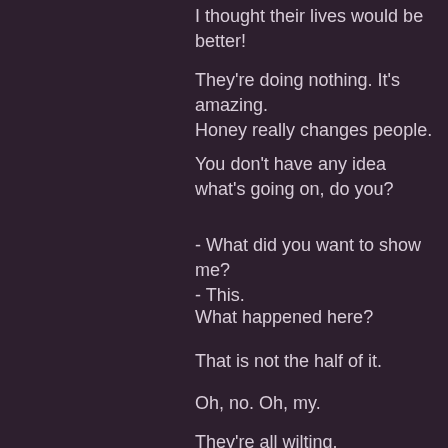I thought their lives would be better!
They're doing nothing. It's amazing. Honey really changes people.
You don't have any idea what's going on, do you?
- What did you want to show me?
- This.
What happened here?
That is not the half of it.
Oh, no. Oh, my.
They're all wilting.
Doesn't look very good, does it?